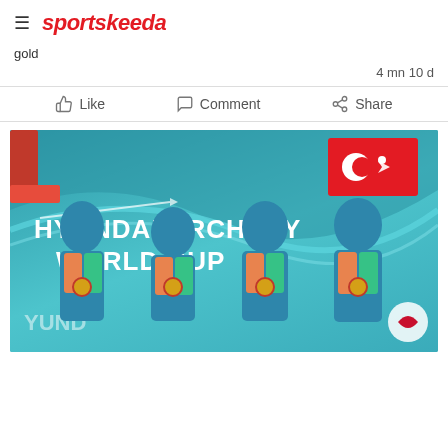sportskeeda
gold
4 mn 10 d
Like   Comment   Share
[Figure (photo): Four Indian archery team members in blue and orange jerseys holding gold medals in front of a Hyundai Archery World Cup backdrop with Turkish flag visible]